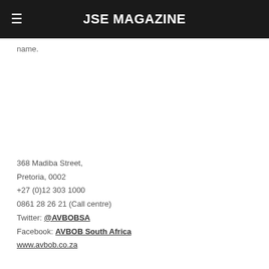JSE MAGAZINE
name.
368 Madiba Street,
Pretoria, 0002
+27 (0)12 303 1000
0861 28 26 21 (Call centre)
Twitter: @AVBOBSA
Facebook: AVBOB South Africa
www.avbob.co.za